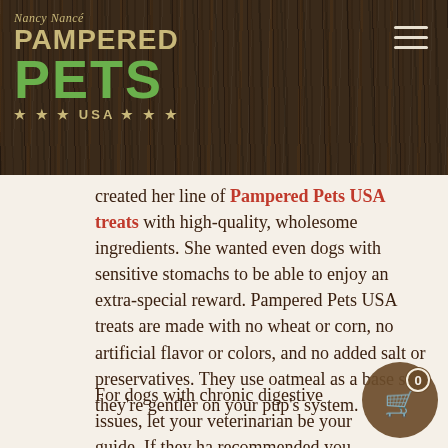[Figure (logo): Nancy Nancé Pampered Pets USA logo in gold and green on dark wood background with hamburger menu icon]
created her line of Pampered Pets USA treats with high-quality, wholesome ingredients. She wanted even dogs with sensitive stomachs to be able to enjoy an extra-special reward. Pampered Pets USA treats are made with no wheat or corn, no artificial flavor or colors, and no added salt or preservatives. They use oatmeal as a base so they're gentler on your pup's system.
For dogs with chronic digestive issues, let your veterinarian be your guide. If they have recommended you cut certain ingredients from your dog's diet share each treat's full